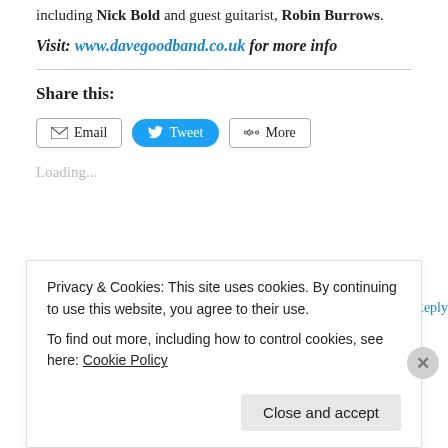including Nick Bold and guest guitarist, Robin Burrows.
Visit: www.davegoodband.co.uk for more info
Share this:
[Figure (other): Social sharing buttons: Email, Tweet, More]
Loading...
April 26, 2021
Leave a Reply
Privacy & Cookies: This site uses cookies. By continuing to use this website, you agree to their use. To find out more, including how to control cookies, see here: Cookie Policy